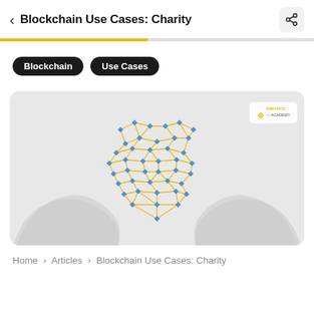Blockchain Use Cases: Charity
Blockchain  Use Cases
[Figure (illustration): Binance Academy hero image showing a heart shape made of a network grid with blue diamond nodes and gold/orange connecting lines, held by two white hands on a light grey background. Binance Academy logo in top-right corner.]
Home > Articles > Blockchain Use Cases: Charity